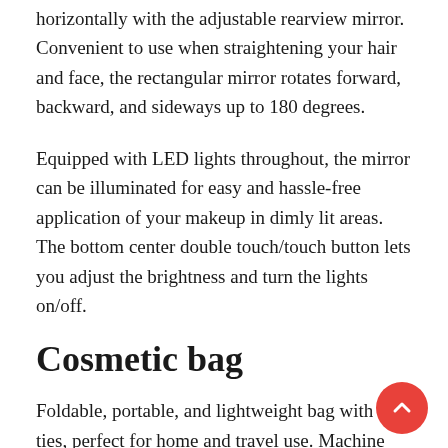horizontally with the adjustable rearview mirror. Convenient to use when straightening your hair and face, the rectangular mirror rotates forward, backward, and sideways up to 180 degrees.
Equipped with LED lights throughout, the mirror can be illuminated for easy and hassle-free application of your makeup in dimly lit areas. The bottom center double touch/touch button lets you adjust the brightness and turn the lights on/off.
Cosmetic bag
Foldable, portable, and lightweight bag with rod ties, perfect for home and travel use. Machine washable and